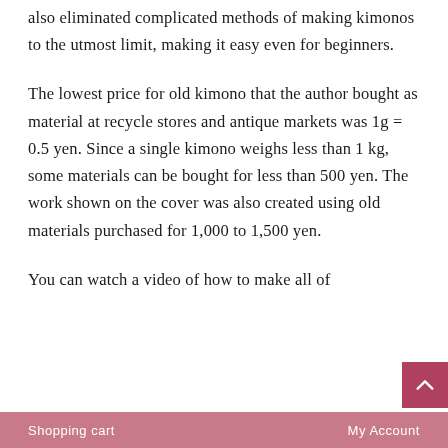also eliminated complicated methods of making kimonos to the utmost limit, making it easy even for beginners.
The lowest price for old kimono that the author bought as material at recycle stores and antique markets was 1g = 0.5 yen. Since a single kimono weighs less than 1 kg, some materials can be bought for less than 500 yen. The work shown on the cover was also created using old materials purchased for 1,000 to 1,500 yen.
You can watch a video of how to make all of
Shopping cart   My Account